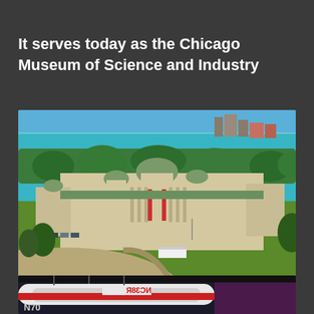It serves today as the Chicago Museum of Science and Industry
[Figure (photo): Aerial view of the Chicago Museum of Science and Industry building with Lake Michigan and city skyline in the background, surrounded by green lawns and trees]
[Figure (photo): Partial view of an aircraft interior or exhibit, showing fuselage with markings NC38R and N707 visible]